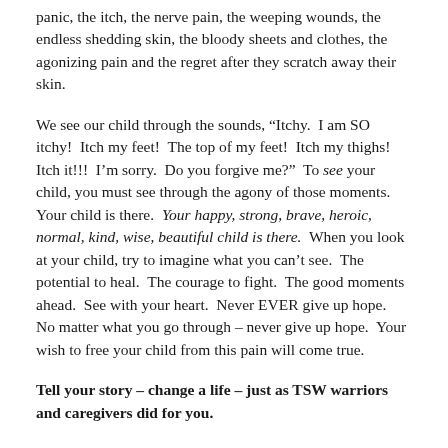panic, the itch, the nerve pain, the weeping wounds, the endless shedding skin, the bloody sheets and clothes, the agonizing pain and the regret after they scratch away their skin.
We see our child through the sounds, “Itchy. I am SO itchy! Itch my feet! The top of my feet! Itch my thighs! Itch it!!! I’m sorry. Do you forgive me?” To see your child, you must see through the agony of those moments. Your child is there. Your happy, strong, brave, heroic, normal, kind, wise, beautiful child is there. When you look at your child, try to imagine what you can’t see. The potential to heal. The courage to fight. The good moments ahead. See with your heart. Never EVER give up hope. No matter what you go through – never give up hope. Your wish to free your child from this pain will come true.
Tell your story – change a life – just as TSW warriors and caregivers did for you.